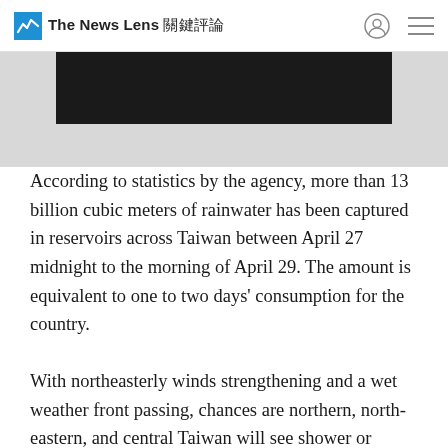The News Lens 關鍵評論
[Figure (photo): Partial photo of a dark/black subject, cropped at the top of the page, showing the bottom edge of an image within a light gray container area.]
According to statistics by the agency, more than 13 billion cubic meters of rainwater has been captured in reservoirs across Taiwan between April 27 midnight to the morning of April 29. The amount is equivalent to one to two days' consumption for the country.
With northeasterly winds strengthening and a wet weather front passing, chances are northern, north-eastern, and central Taiwan will see shower or thunderstorm activities in the near future, the Weather Forecast Center reports. The north and north-eastern part of the island fall on the colder